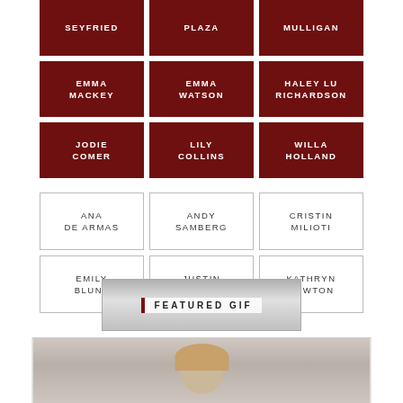SEYFRIED
PLAZA
MULLIGAN
EMMA MACKEY
EMMA WATSON
HALEY LU RICHARDSON
JODIE COMER
LILY COLLINS
WILLA HOLLAND
ANA DE ARMAS
ANDY SAMBERG
CRISTIN MILIOTI
EMILY BLUNT
JUSTIN HARTLEY
KATHRYN NEWTON
FEATURED GIF
[Figure (photo): Portrait photo of a blonde woman against a light background]